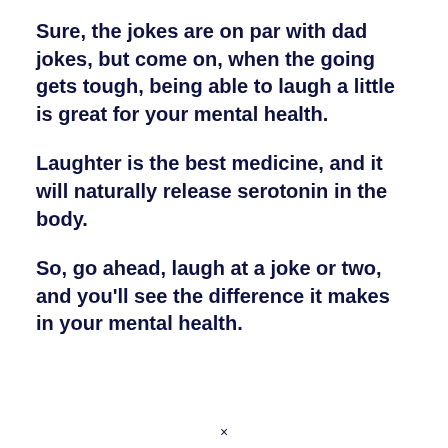Sure, the jokes are on par with dad jokes, but come on, when the going gets tough, being able to laugh a little is great for your mental health.
Laughter is the best medicine, and it will naturally release serotonin in the body.
So, go ahead, laugh at a joke or two, and you'll see the difference it makes in your mental health.
×